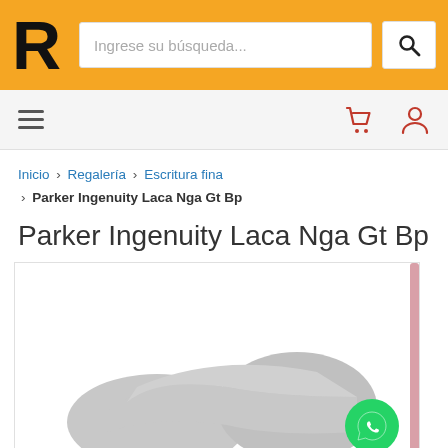[Figure (screenshot): Website header with orange background, large black R logo, search box with placeholder 'Ingrese su búsqueda...', and search icon button]
[Figure (screenshot): Navigation bar with hamburger menu icon on left and red cart and user icons on right]
Inicio › Regalería › Escritura fina › Parker Ingenuity Laca Nga Gt Bp
Parker Ingenuity Laca Nga Gt Bp
[Figure (photo): Product image placeholder showing a grey silhouette of a pen/product on white background, with a pink scrollbar on the right edge and a green WhatsApp button overlay at bottom right]